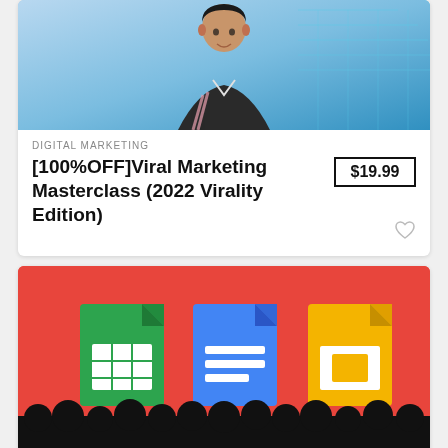[Figure (photo): Course thumbnail showing a presenter in front of a blue digital/tech themed background]
DIGITAL MARKETING
[100%OFF]Viral Marketing Masterclass (2022 Virality Edition)
$19.99
[Figure (illustration): Google Workspace icons (Sheets green, Docs blue, Slides yellow) on a red background with a silhouette audience at the bottom]